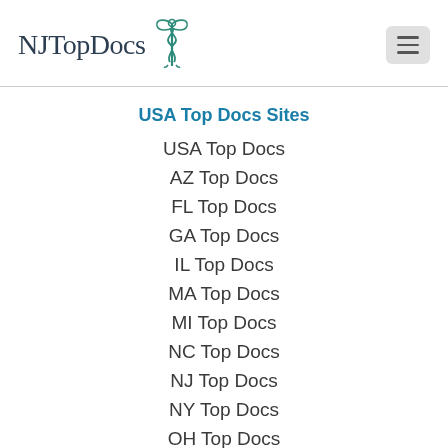NJ Top Docs
USA Top Docs Sites
USA Top Docs
AZ Top Docs
FL Top Docs
GA Top Docs
IL Top Docs
MA Top Docs
MI Top Docs
NC Top Docs
NJ Top Docs
NY Top Docs
OH Top Docs
PA Top Docs